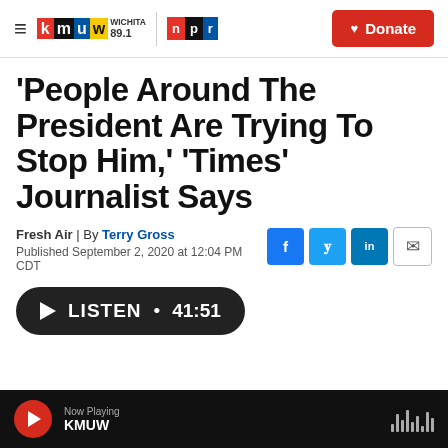KMUW WICHITA 89.1 | NPR | Donate
'People Around The President Are Trying To Stop Him,' 'Times' Journalist Says
Fresh Air | By Terry Gross
Published September 2, 2020 at 12:04 PM CDT
[Figure (other): Listen button with duration 41:51]
Now Playing KMUW